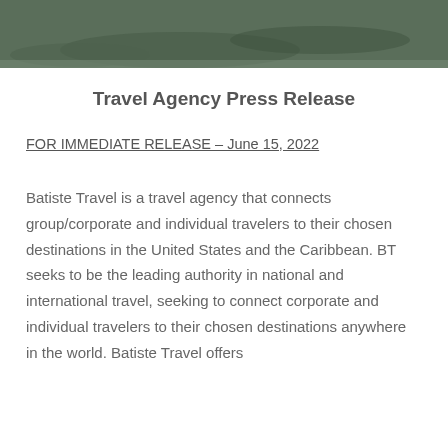[Figure (photo): Aerial or landscape photograph showing coastal/natural scenery with dark greenish tones, with white text showing date overlay.]
Travel Agency Press Release
FOR IMMEDIATE RELEASE – June 15, 2022
Batiste Travel is a travel agency that connects group/corporate and individual travelers to their chosen destinations in the United States and the Caribbean. BT seeks to be the leading authority in national and international travel, seeking to connect corporate and individual travelers to their chosen destinations anywhere in the world. Batiste Travel offers